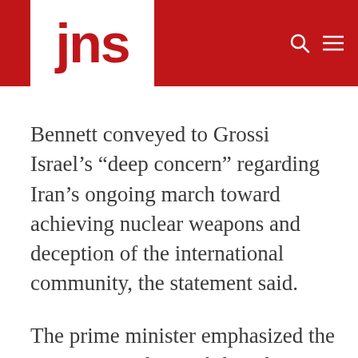jns
Bennett conveyed to Grossi Israel’s “deep concern” regarding Iran’s ongoing march toward achieving nuclear weapons and deception of the international community, the statement said.
The prime minister emphasized the “urgent” need to mobilize the international community to take action against Iran, “using all means,”